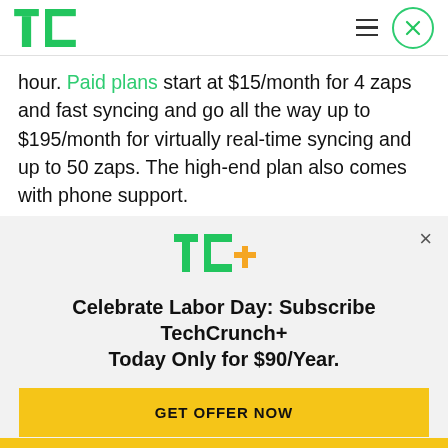TechCrunch logo, hamburger menu, close button
hour. Paid plans start at $15/month for 4 zaps and fast syncing and go all the way up to $195/month for virtually real-time syncing and up to 50 zaps. The high-end plan also comes with phone support.

The company's founders, who were all based in Missouri before moving to California for Y Combinator, bootstrapped the service and haven't
[Figure (logo): TechCrunch TC+ logo in green and yellow]
Celebrate Labor Day: Subscribe TechCrunch+ Today Only for $90/Year.
GET OFFER NOW